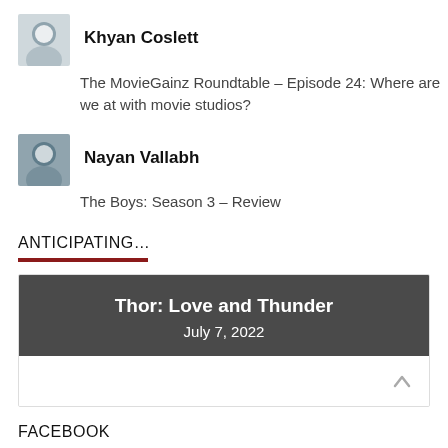Khyan Coslett
The MovieGainz Roundtable – Episode 24: Where are we at with movie studios?
Nayan Vallabh
The Boys: Season 3 – Review
ANTICIPATING...
[Figure (other): Movie anticipation card with dark gray header showing 'Thor: Love and Thunder' and date 'July 7, 2022', with white footer containing an up-arrow chevron]
FACEBOOK